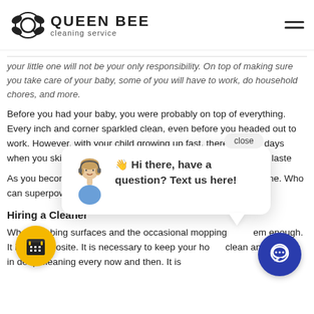QUEEN BEE cleaning service
your little one will not be your only responsibility. On top of making sure you take care of your baby, some of you will have to work, do household chores, and more.
Before you had your baby, you were probably on top of everything. Every inch and corner sparkled clean, even before you headed out to work. However, with your child growing up fast, there may be days when you skip cleaning, or what used to be a 2-hour job only laste
As you become bus... of your home. Who can... superpowers.
Hiring a Cleaner
Wh...obing surfaces and the occasional mopping em enough. It is the opposite. It is necessary to keep your ho... clean and engage in deep cleaning every now and then. It is
[Figure (screenshot): Chat popup with avatar of woman with headset, message 'Hi there, have a question? Text us here!' and a close button. Yellow calendar button and blue chat button also visible.]